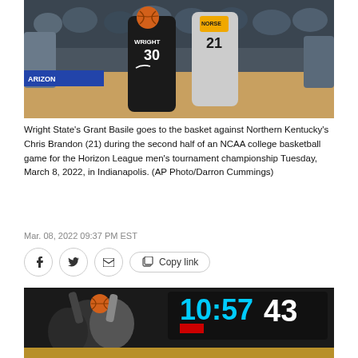[Figure (photo): Basketball game photo: Wright State player #30 driving to the basket against Northern Kentucky player #21 wearing NORSE jersey, during an NCAA college basketball game]
Wright State's Grant Basile goes to the basket against Northern Kentucky's Chris Brandon (21) during the second half of an NCAA college basketball game for the Horizon League men's tournament championship Tuesday, March 8, 2022, in Indianapolis. (AP Photo/Darron Cummings)
Mar. 08, 2022 09:37 PM EST
[Figure (photo): Basketball game photo showing players going up for a shot, scoreboard showing 10:57 and 43 in background]